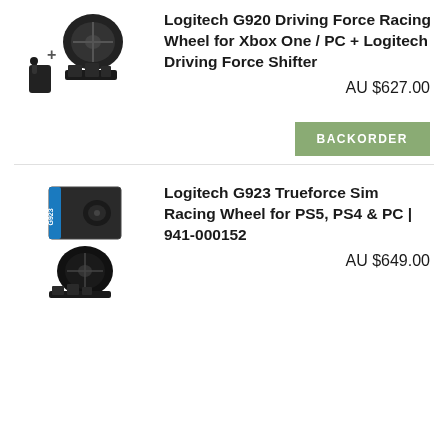[Figure (photo): Logitech G920 racing wheel and pedals product image with a plus sign next to a shifter]
Logitech G920 Driving Force Racing Wheel for Xbox One / PC + Logitech Driving Force Shifter
AU $627.00
BACKORDER
[Figure (photo): Logitech G923 Trueforce Sim Racing Wheel product box and wheel with pedals]
Logitech G923 Trueforce Sim Racing Wheel for PS5, PS4 & PC | 941-000152
AU $649.00